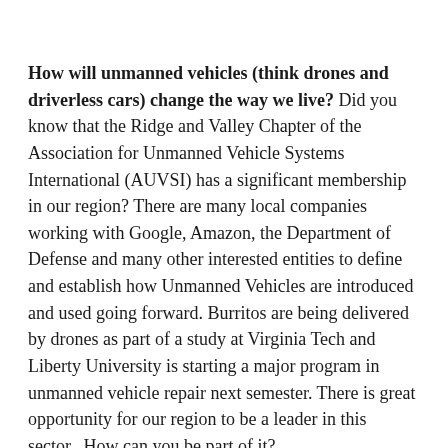How will unmanned vehicles (think drones and driverless cars) change the way we live? Did you know that the Ridge and Valley Chapter of the Association for Unmanned Vehicle Systems International (AUVSI) has a significant membership in our region? There are many local companies working with Google, Amazon, the Department of Defense and many other interested entities to define and establish how Unmanned Vehicles are introduced and used going forward. Burritos are being delivered by drones as part of a study at Virginia Tech and Liberty University is starting a major program in unmanned vehicle repair next semester. There is great opportunity for our region to be a leader in this sector. How can you be part of it?